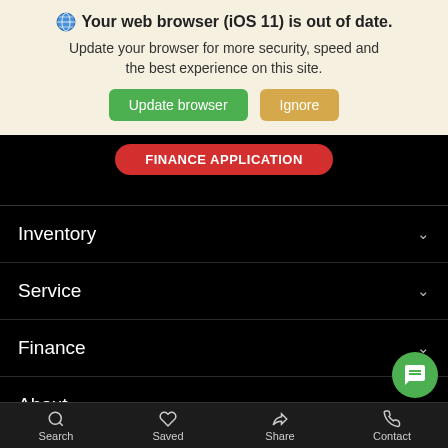🌐 Your web browser (iOS 11) is out of date. Update your browser for more security, speed and the best experience on this site.
Update browser | Ignore
FINANCE APPLICATION
Inventory ∨
Service ∨
Finance ∨
About
Search | Saved | Share | Contact